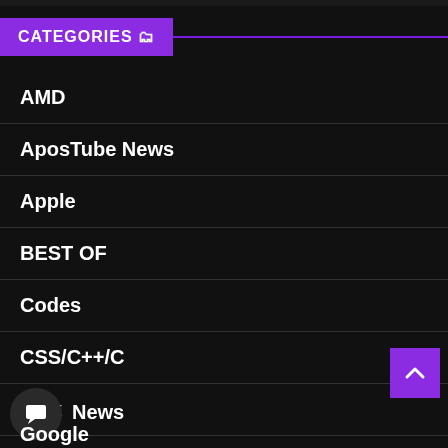CATEGORIES 🗂️
AMD
AposTube News
Apple
BEST OF
Codes
CSS/C++/C
Disk
Fortnite News
News
Google